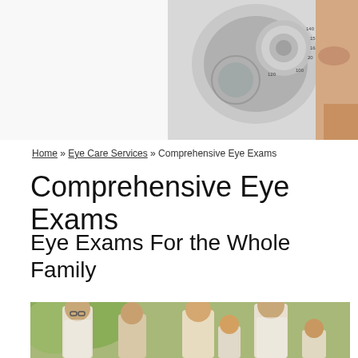[Figure (photo): A person wearing an optometry phoropter device for eye examination, showing the lens dial with numbers, close-up of face]
Home » Eye Care Services » Comprehensive Eye Exams
Comprehensive Eye Exams
Eye Exams For the Whole Family
[Figure (photo): A multi-generational family smiling outdoors — elderly man with glasses, elderly woman, middle-aged woman, young man, girl, and boy, all wearing white or light clothing]